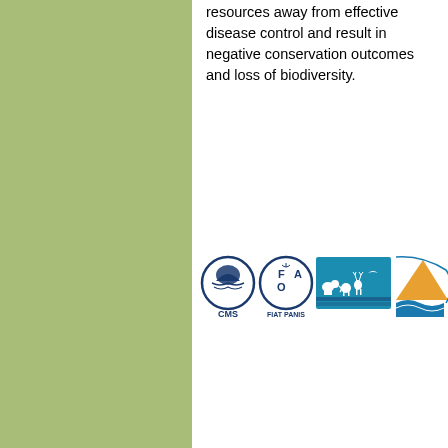resources away from effective disease control and result in negative conservation outcomes and loss of biodiversity.
[Figure (logo): Row of organisation logos: CMS (Convention on Migratory Species), FAO, IUCN (wildlife silhouettes), and a partially visible fourth logo (ABW or similar) with landscape design]